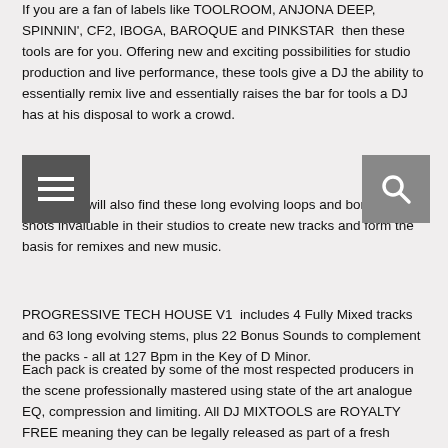If you are a fan of labels like TOOLROOM, ANJONA DEEP, SPINNIN', CF2, IBOGA, BAROQUE and PINKSTAR  then these tools are for you. Offering new and exciting possibilities for studio production and live performance, these tools give a DJ the ability to essentially remix live and essentially raises the bar for tools a DJ has at his disposal to work a crowd.
Producers will also find these long evolving loops and bonus one shots invaluable in their studios to create new tracks and form the basis for remixes and new music.
PROGRESSIVE TECH HOUSE V1  includes 4 Fully Mixed tracks and 63 long evolving stems, plus 22 Bonus Sounds to complement the packs - all at 127 Bpm in the Key of D Minor.
Each pack is created by some of the most respected producers in the scene professionally mastered using state of the art analogue EQ, compression and limiting. All DJ MIXTOOLS are ROYALTY FREE meaning they can be legally released as part of a fresh production.